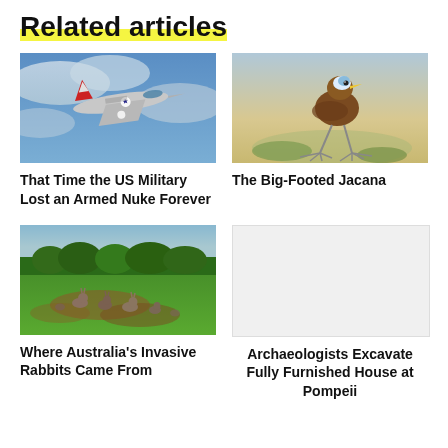Related articles
[Figure (photo): US Navy military jet aircraft flying through blue cloudy sky]
That Time the US Military Lost an Armed Nuke Forever
[Figure (photo): A Jacana bird with large feet standing on water plants]
The Big-Footed Jacana
[Figure (photo): Rabbits in a green field in Australia]
Where Australia's Invasive Rabbits Came From
Archaeologists Excavate Fully Furnished House at Pompeii